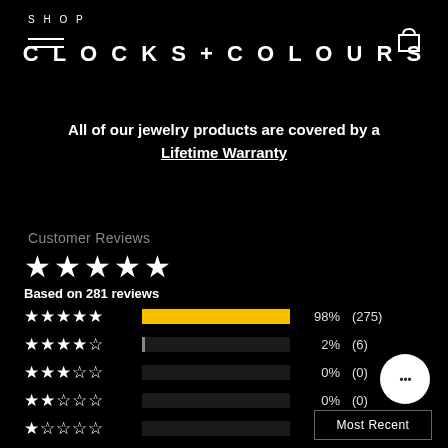SHOP  CLOCKS + COLOURS
All of our jewelry products are covered by a Lifetime Warranty
Customer Reviews
★★★★★ Based on 281 reviews
[Figure (bar-chart): Rating distribution]
Most Recent